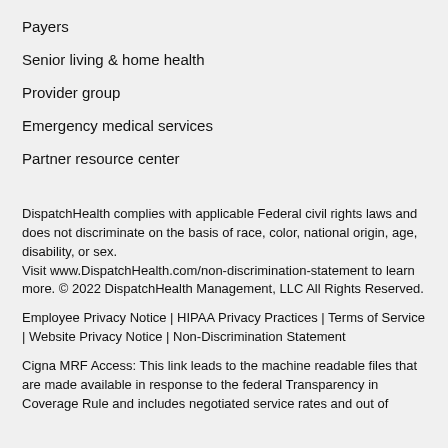Payers
Senior living & home health
Provider group
Emergency medical services
Partner resource center
DispatchHealth complies with applicable Federal civil rights laws and does not discriminate on the basis of race, color, national origin, age, disability, or sex. Visit www.DispatchHealth.com/non-discrimination-statement to learn more. © 2022 DispatchHealth Management, LLC All Rights Reserved.
Employee Privacy Notice | HIPAA Privacy Practices | Terms of Service | Website Privacy Notice | Non-Discrimination Statement
Cigna MRF Access: This link leads to the machine readable files that are made available in response to the federal Transparency in Coverage Rule and includes negotiated service rates and out of